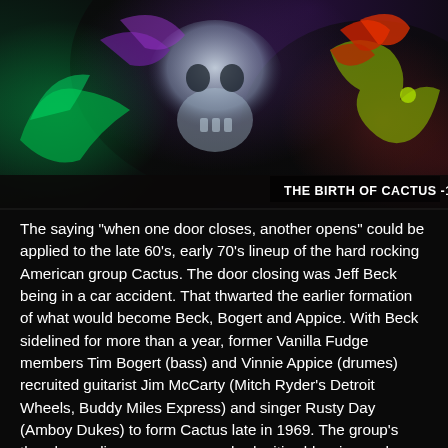[Figure (illustration): Colorful psychedelic illustration with a skull, scorpion, lizard, and tropical/fantasy foliage in vivid greens, purples, and reds. Caption overlay reads: THE BIRTH OF CACTUS -1970]
THE BIRTH OF CACTUS -1970
The saying "when one door closes, another opens" could be applied to the late 60's, early 70's lineup of the hard rocking American group Cactus. The door closing was Jeff Beck being in a car accident. That thwarted the earlier formation of what would become Beck, Bogert and Appice. With Beck sidelined for more than a year, former Vanilla Fudge members Tim Bogert (bass) and Vinnie Appice (drumes) recruited guitarist Jim McCarty (Mitch Ryder's Detroit Wheels, Buddy Miles Express) and singer Rusty Day (Amboy Dukes) to form Cactus late in 1969. The group's thunderous live presence soon had critics blessing and cursing it as being the 'American Led Zeppelin'.